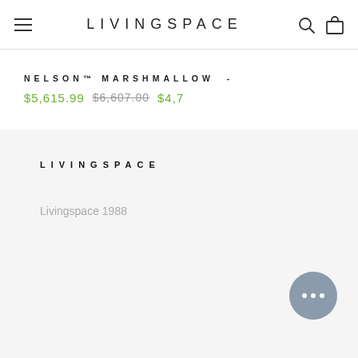LIVINGSPACE
NELSON™ MARSHMALLOW - $5,615.99 $6,607.00 $4,7...
LIVINGSPACE
Livingspace 1988
[Figure (other): Chat bubble button with ellipsis dots]